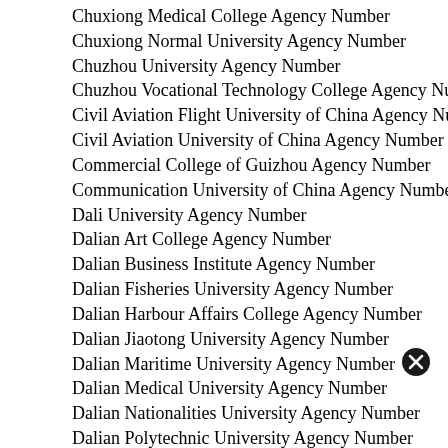Chuxiong Medical College Agency Number
Chuxiong Normal University Agency Number
Chuzhou University Agency Number
Chuzhou Vocational Technology College Agency Number
Civil Aviation Flight University of China Agency Number
Civil Aviation University of China Agency Number
Commercial College of Guizhou Agency Number
Communication University of China Agency Number
Dali University Agency Number
Dalian Art College Agency Number
Dalian Business Institute Agency Number
Dalian Fisheries University Agency Number
Dalian Harbour Affairs College Agency Number
Dalian Jiaotong University Agency Number
Dalian Maritime University Agency Number
Dalian Medical University Agency Number
Dalian Nationalities University Agency Number
Dalian Polytechnic University Agency Number